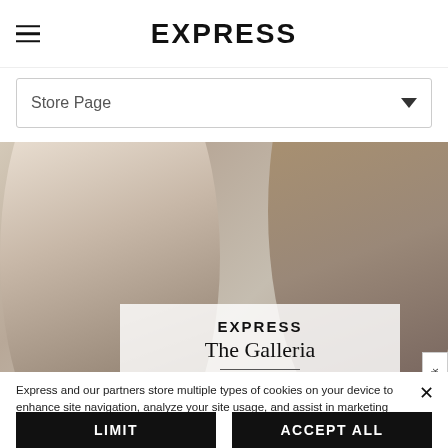EXPRESS
Store Page
[Figure (photo): Hero image showing a man and woman, dressed in fashion clothing, with store name overlay: EXPRESS / The Galleria / CLOSED - OPENS AT 10:00 AM]
Express and our partners store multiple types of cookies on your device to enhance site navigation, analyze your site usage, and assist in marketing efforts. To learn more, please refer to our Privacy Policy.
LIMIT
ACCEPT ALL